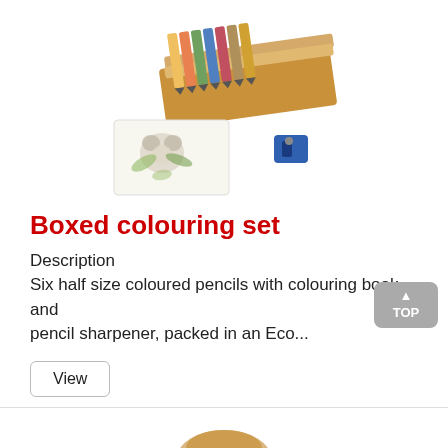[Figure (photo): Product photo showing a boxed colouring set: a wooden box with six coloured pencils, a small colouring book with a koala drawing, and a blue pencil sharpener.]
Boxed colouring set
Description
Six half size coloured pencils with colouring book and pencil sharpener, packed in an Eco...
View
[Figure (photo): Partial view of another product at the bottom of the page.]